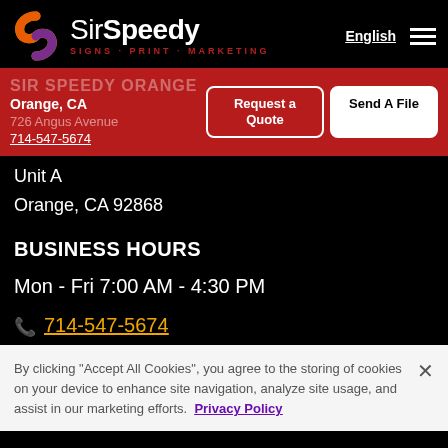Sir Speedy SIGNS · PRINT · MARKETING
SIR SPEEDY ORANGE
Orange, CA
726 Angus Avenue
714-547-5674
Unit A
Orange, CA 92868
BUSINESS HOURS
Mon - Fri 7:00 AM - 4:30 PM
📞 714-547-5674
By clicking "Accept All Cookies", you agree to the storing of cookies on your device to enhance site navigation, analyze site usage, and assist in our marketing efforts. Privacy Policy